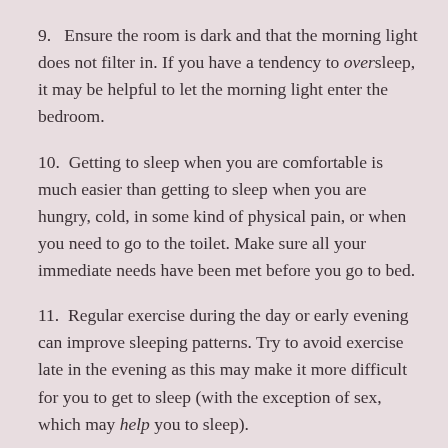9.  Ensure the room is dark and that the morning light does not filter in. If you have a tendency to oversleep, it may be helpful to let the morning light enter the bedroom.
10.  Getting to sleep when you are comfortable is much easier than getting to sleep when you are hungry, cold, in some kind of physical pain, or when you need to go to the toilet. Make sure all your immediate needs have been met before you go to bed.
11.  Regular exercise during the day or early evening can improve sleeping patterns. Try to avoid exercise late in the evening as this may make it more difficult for you to get to sleep (with the exception of sex, which may help you to sleep).
12.  By doing the same thing every night before you go to bed you can improve your chances of falling asleep